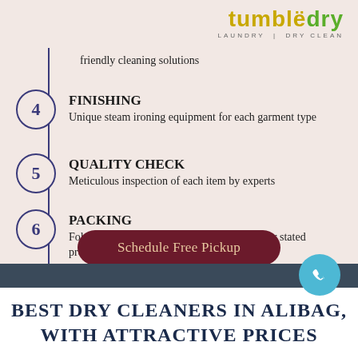[Figure (logo): Tumbledry logo with green and yellow text, subtitle LAUNDRY | DRY CLEAN]
friendly cleaning solutions
4 FINISHING — Unique steam ironing equipment for each garment type
5 QUALITY CHECK — Meticulous inspection of each item by experts
6 PACKING — Folded, hanger or vacuum packing as per your stated preference
Schedule Free Pickup
BEST DRY CLEANERS IN ALIBAG, WITH ATTRACTIVE PRICES